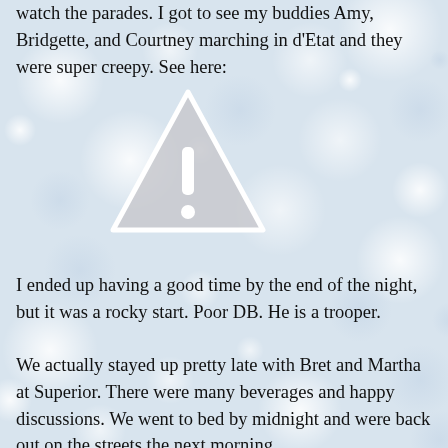watch the parades. I got to see my buddies Amy, Bridgette, and Courtney marching in d’Etat and they were super creepy. See here:
[Figure (illustration): A grey warning/caution triangle icon with an exclamation mark, displayed over a bokeh light background.]
I ended up having a good time by the end of the night, but it was a rocky start. Poor DB. He is a trooper.
We actually stayed up pretty late with Bret and Martha at Superior. There were many beverages and happy discussions. We went to bed by midnight and were back out on the streets the next morning.